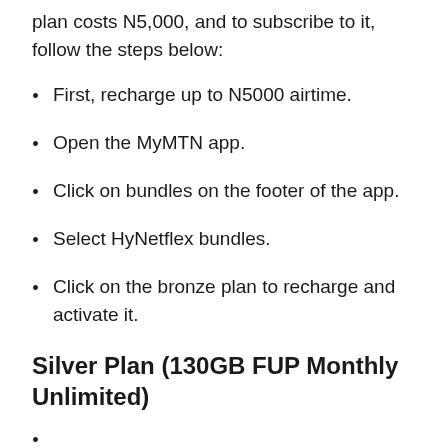plan costs N5,000, and to subscribe to it, follow the steps below:
First, recharge up to N5000 airtime.
Open the MyMTN app.
Click on bundles on the footer of the app.
Select HyNetflex bundles.
Click on the bronze plan to recharge and activate it.
Silver Plan (130GB FUP Monthly Unlimited)